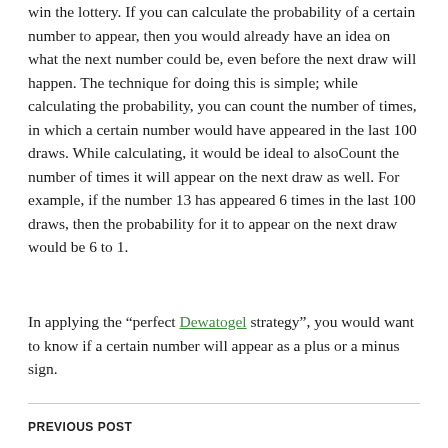win the lottery. If you can calculate the probability of a certain number to appear, then you would already have an idea on what the next number could be, even before the next draw will happen. The technique for doing this is simple; while calculating the probability, you can count the number of times, in which a certain number would have appeared in the last 100 draws. While calculating, it would be ideal to alsoCount the number of times it will appear on the next draw as well. For example, if the number 13 has appeared 6 times in the last 100 draws, then the probability for it to appear on the next draw would be 6 to 1.
In applying the “perfect Dewatogel strategy”, you would want to know if a certain number will appear as a plus or a minus sign.
PREVIOUS POST